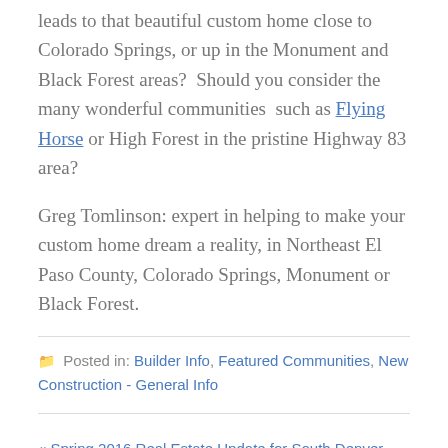leads to that beautiful custom home close to Colorado Springs, or up in the Monument and Black Forest areas?  Should you consider the many wonderful communities such as Flying Horse or High Forest in the pristine Highway 83 area?
Greg Tomlinson: expert in helping to make your custom home dream a reality, in Northeast El Paso County, Colorado Springs, Monument or Black Forest.
Posted in: Builder Info, Featured Communities, New Construction - General Info
« Spring 2016 Real Estate Update for South Denver Market
The Meadows at Castle Rock Remains Popular »